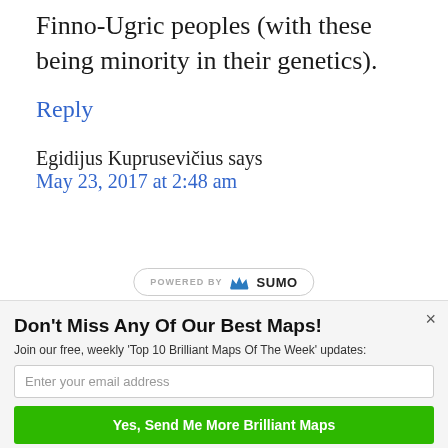Finno-Ugric peoples (with these being minority in their genetics).
Reply
Egidijus Kuprusevičius says
May 23, 2017 at 2:48 am
[Figure (logo): POWERED BY SUMO logo badge]
Don't Miss Any Of Our Best Maps!
Join our free, weekly 'Top 10 Brilliant Maps Of The Week' updates:
Enter your email address
Yes, Send Me More Brilliant Maps